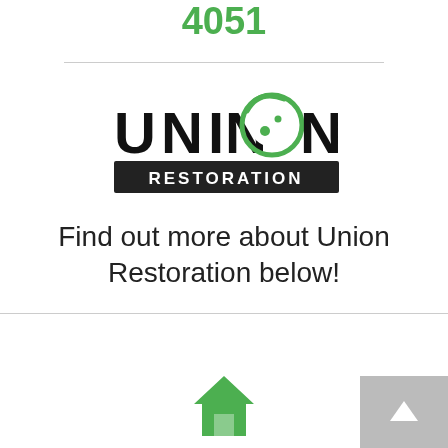Specialists to call (800) 899-4051
[Figure (logo): Union Restoration logo with stylized bowling ball design and green swoosh, black text UNION above green banner with white text RESTORATION]
Find out more about Union Restoration below!
[Figure (illustration): Green house/home icon and grey scroll-to-top button with white upward arrow]